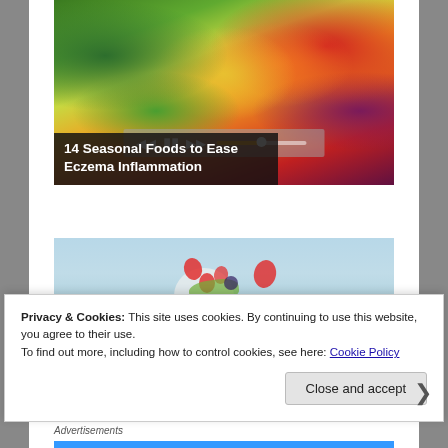[Figure (screenshot): Colorful array of vegetables and fruits (green, yellow, orange, red, purple) with video player controls overlay at the bottom]
14 Seasonal Foods to Ease Eczema Inflammation
[Figure (photo): Salad bowl with strawberries and mixed greens on a light blue wooden surface]
Privacy & Cookies: This site uses cookies. By continuing to use this website, you agree to their use.
To find out more, including how to control cookies, see here: Cookie Policy
Close and accept
Advertisements